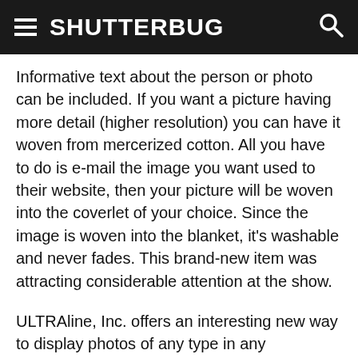SHUTTERBUG
Informative text about the person or photo can be included. If you want a picture having more detail (higher resolution) you can have it woven from mercerized cotton. All you have to do is e-mail the image you want used to their website, then your picture will be woven into the coverlet of your choice. Since the image is woven into the blanket, it's washable and never fades. This brand-new item was attracting considerable attention at the show.
ULTRAline, Inc. offers an interesting new way to display photos of any type in any environment: the Personalight. It's an acrylic plastic in a shallow vertical housing having a standard 40w white lamp